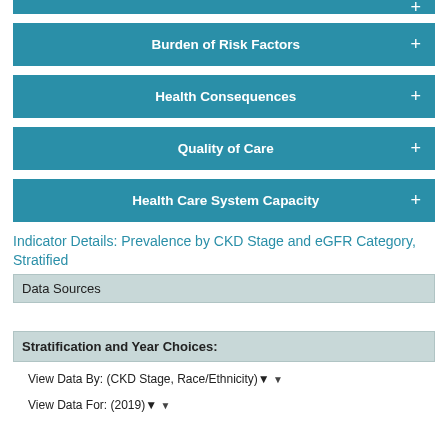Burden of Risk Factors
Health Consequences
Quality of Care
Health Care System Capacity
Indicator Details: Prevalence by CKD Stage and eGFR Category, Stratified
Data Sources
Stratification and Year Choices:
View Data By: (CKD Stage, Race/Ethnicity)
View Data For: (2019)